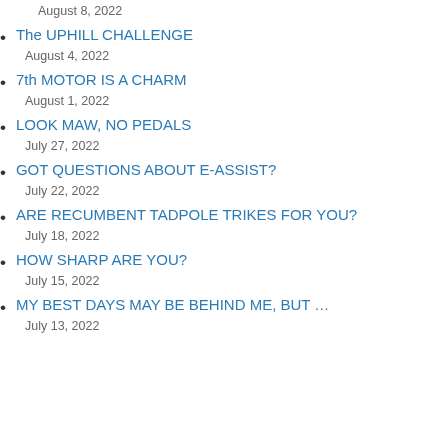August 8, 2022
The UPHILL CHALLENGE
August 4, 2022
7th MOTOR IS A CHARM
August 1, 2022
LOOK MAW, NO PEDALS
July 27, 2022
GOT QUESTIONS ABOUT E-ASSIST?
July 22, 2022
ARE RECUMBENT TADPOLE TRIKES FOR YOU?
July 18, 2022
HOW SHARP ARE YOU?
July 15, 2022
MY BEST DAYS MAY BE BEHIND ME, BUT …
July 13, 2022